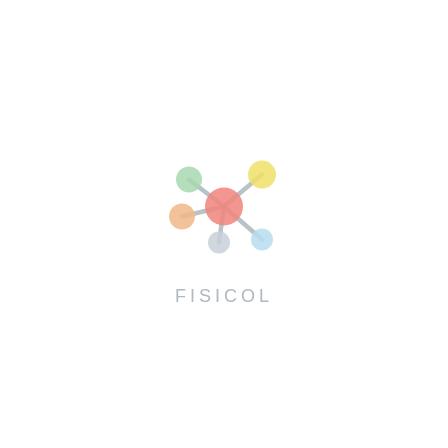[Figure (logo): FISICOL logo: a molecule model illustration with a central red/orange ball connected by grey rods to five peripheral colored balls (green top-left, yellow top-right, orange left, grey bottom-center, light-blue bottom-right), with the text FISICOL below in light grey spaced letters]